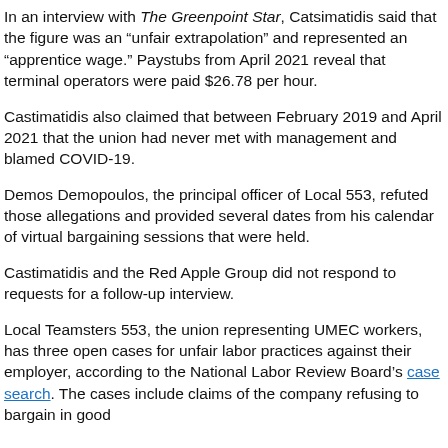In an interview with The Greenpoint Star, Catsimatidis said that the figure was an “unfair extrapolation” and represented an “apprentice wage.” Paystubs from April 2021 reveal that terminal operators were paid $26.78 per hour.
Castimatidis also claimed that between February 2019 and April 2021 that the union had never met with management and blamed COVID-19.
Demos Demopoulos, the principal officer of Local 553, refuted those allegations and provided several dates from his calendar of virtual bargaining sessions that were held.
Castimatidis and the Red Apple Group did not respond to requests for a follow-up interview.
Local Teamsters 553, the union representing UMEC workers, has three open cases for unfair labor practices against their employer, according to the National Labor Review Board’s case search. The cases include claims of the company refusing to bargain in good